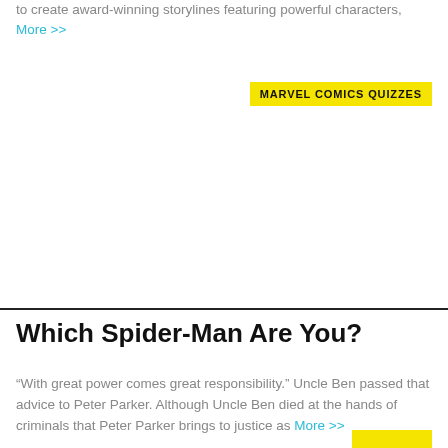to create award-winning storylines featuring powerful characters, More >>
MARVEL COMICS QUIZZES
Which Spider-Man Are You?
“With great power comes great responsibility.” Uncle Ben passed that advice to Peter Parker. Although Uncle Ben died at the hands of criminals that Peter Parker brings to justice as More >>